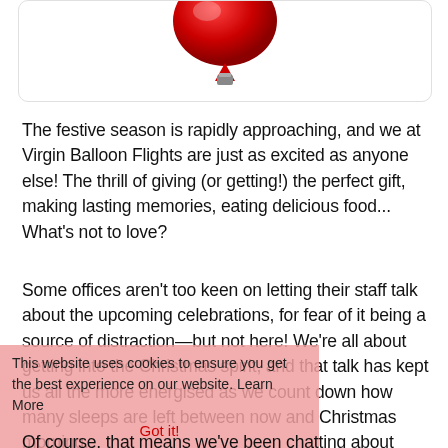[Figure (photo): Partial view of a red Virgin Balloon Flights balloon/ornament against white background, bottom portion visible in a rounded rectangle frame]
The festive season is rapidly approaching, and we at Virgin Balloon Flights are just as excited as anyone else! The thrill of giving (or getting!) the perfect gift, making lasting memories, eating delicious food... What's not to love?
Some offices aren't too keen on letting their staff talk about the upcoming celebrations, for fear of it being a source of distraction—but not here! We're all about getting into the Christmas spirit, and that talk has kept us all the more energised as we count down how many sleeps are left between now and Christmas morning.
This website uses cookies to ensure you get the best experience on our website. Learn More
Got it!
Of course, that means we've been chatting about